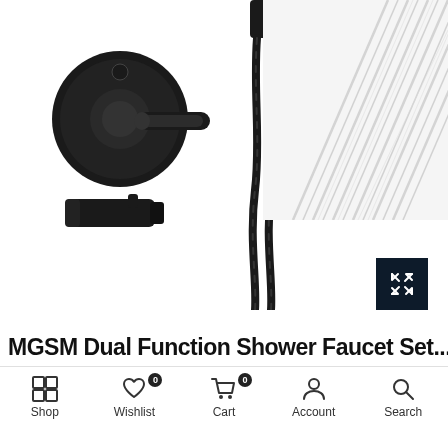[Figure (photo): E-commerce product page screenshot showing matte black bathroom faucet and shower set. Left side shows a wall-mount valve with lever handle and a tub spout in matte black finish. Center shows a coiled black shower hose with handheld showerhead holder. Top right shows diagonal rain shower water streams. An expand/fullscreen button (dark navy square with white expand arrows icon) appears at the right side. Bottom portion shows white space, then a partial product title in large bold text, and a bottom navigation bar with Shop, Wishlist, Cart, Account, and Search icons.]